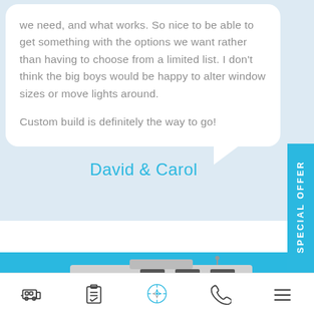we need, and what works. So nice to be able to get something with the options we want rather than having to choose from a limited list. I don't think the big boys would be happy to alter window sizes or move lights around.

Custom build is definitely the way to go!
David & Carol
[Figure (photo): Photo of a motorhome/RV against a bright blue sky background, partially cropped at bottom of page]